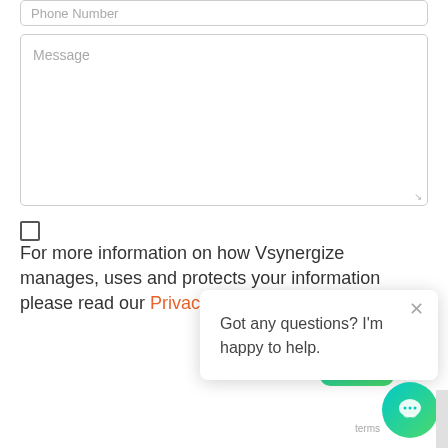Phone Number
Message
For more information on how Vsynergize manages, uses and protects your information please read our Privacy Statement
SU
Got any questions? I'm happy to help.
terms